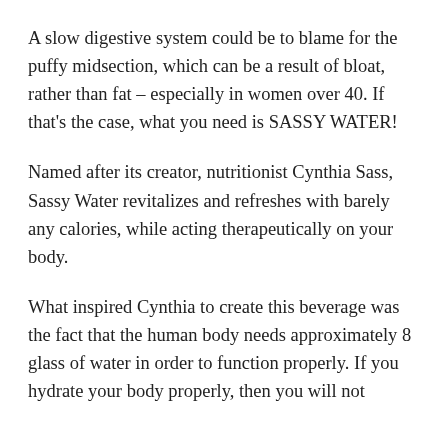A slow digestive system could be to blame for the puffy midsection, which can be a result of bloat, rather than fat – especially in women over 40. If that's the case, what you need is SASSY WATER!
Named after its creator, nutritionist Cynthia Sass, Sassy Water revitalizes and refreshes with barely any calories, while acting therapeutically on your body.
What inspired Cynthia to create this beverage was the fact that the human body needs approximately 8 glass of water in order to function properly. If you hydrate your body properly, then you will not